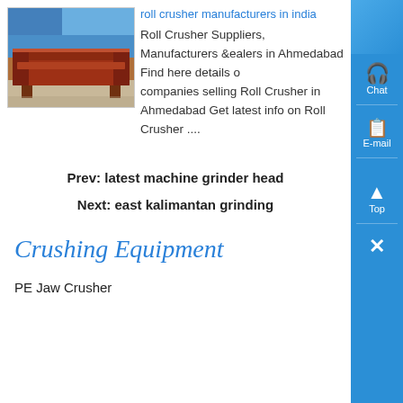[Figure (photo): Photo of industrial roll crusher equipment, red/brown metal frame, blue tarp in background]
roll crusher manufacturers in india
Roll Crusher Suppliers, Manufacturers dealers in Ahmedabad Find here details of companies selling Roll Crusher in Ahmedabad Get latest info on Roll Crusher ....
Prev: latest machine grinder head
Next: east kalimantan grinding
Crushing Equipment
PE Jaw Crusher